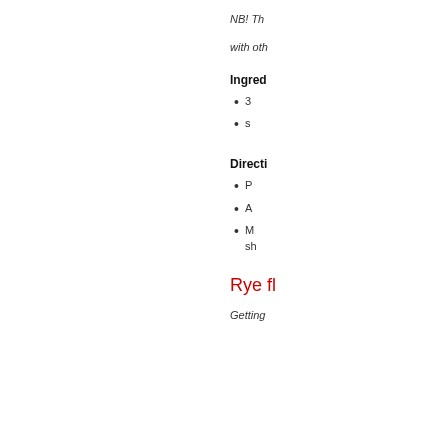NB! Th... with oth...
Ingred...
3...
s...
Directi...
P...
A...
M... sh...
Rye fl...
Getting...